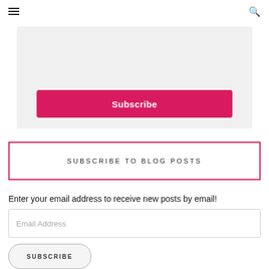[Figure (screenshot): Gray box with a pink Subscribe button at the bottom]
SUBSCRIBE TO BLOG POSTS
Enter your email address to receive new posts by email!
[Figure (screenshot): Email Address input field with placeholder text]
[Figure (screenshot): SUBSCRIBE button with rounded outline style]